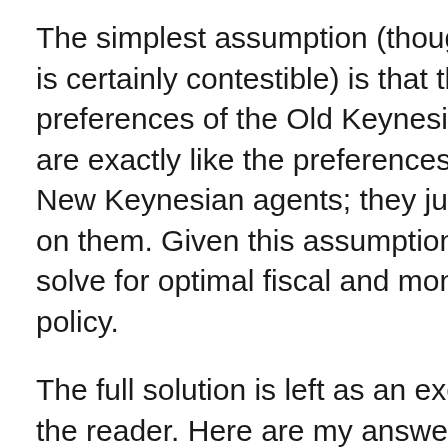The simplest assumption (though one that is certainly contestible) is that the true preferences of the Old Keynesian agents are exactly like the preferences of the New Keynesian agents; they just don't act on them. Given this assumption, we can solve for optimal fiscal and monetary policy.
The full solution is left as an exercise for the reader. Here are my answers:
T(t) should alone be used to offset shocks to A(t). If the Old Keynesian agents go on an irrational consumption binge,